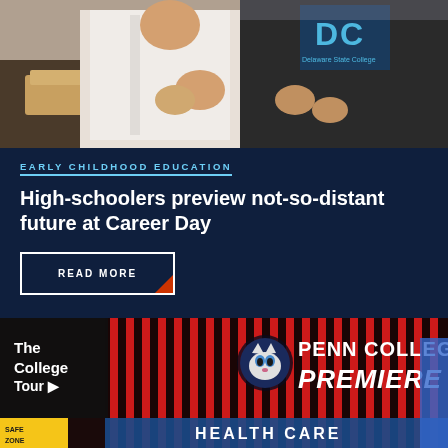[Figure (photo): Two people in a kitchen/culinary setting, one wearing a white chef's coat and the other wearing a dark 'DC' college sweatshirt, appearing to work with food.]
EARLY CHILDHOOD EDUCATION
High-schoolers preview not-so-distant future at Career Day
READ MORE
[Figure (photo): A banner/sign reading 'The College Tour' with 'PENN COLLEGE PREMIERE' in large letters featuring a wildcat mascot logo, and 'HEALTH CARE' text partially visible at the bottom. Background has red and black vertical stripes.]